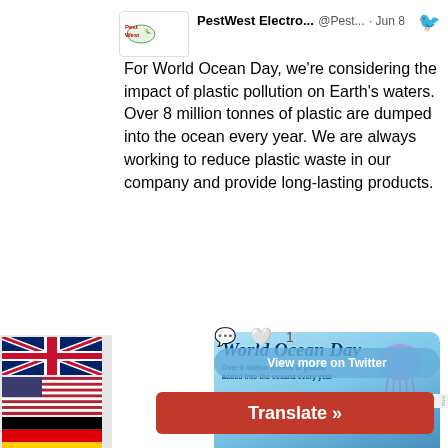[Figure (screenshot): PestWest Electronics Twitter post about World Ocean Day with cookie consent overlay, flag sidebar, and Translate button]
PestWest Electro...  @Pest...  · Jun 8
For World Ocean Day, we're considering the impact of plastic pollution on Earth's waters. Over 8 million tonnes of plastic are dumped into the ocean every year. We are always working to reduce plastic waste in our company and provide long-lasting products.
[Figure (infographic): World Ocean Day promotional image with jellyfish and text 'Over 8 million tonnes of plastic added into the oceans every year']
By continuing to use the site, you agree to the use of cookies. << Privacy Policy >>
Accept
View more on Twitter
Translate »